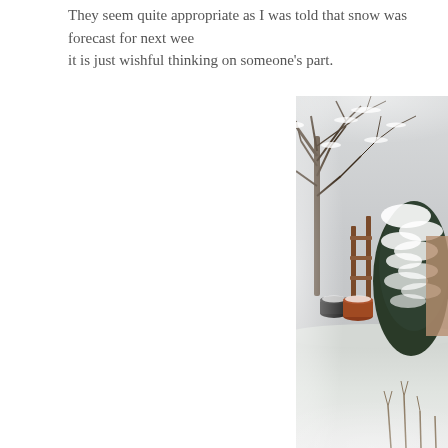They seem quite appropriate as I was told that snow was forecast for next week… it is just wishful thinking on someone's part.
[Figure (photo): A snow-covered garden scene showing bare winter trees with heavy snow on branches, an evergreen shrub laden with snow, a wooden gate or fence, flower pots, and a snow-covered ground with dried plant stems visible in the foreground. The edges of the photo have a soft, vignette-like blur effect.]